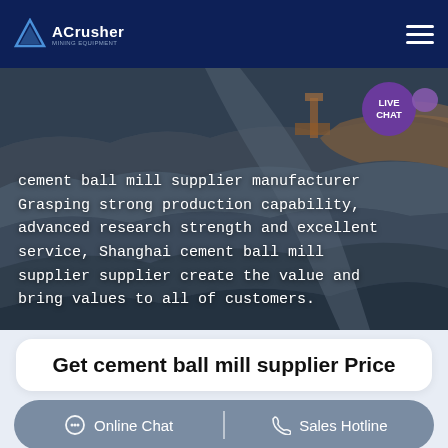ACrusher | Mining Equipment
[Figure (photo): Aerial view of a mining quarry with heavy machinery and layered rock terrain. A cement ball mill supplier text overlay is displayed on the image.]
cement ball mill supplier manufacturer Grasping strong production capability, advanced research strength and excellent service, Shanghai cement ball mill supplier supplier create the value and bring values to all of customers.
Get cement ball mill supplier Price
Online Chat | Sales Hotline